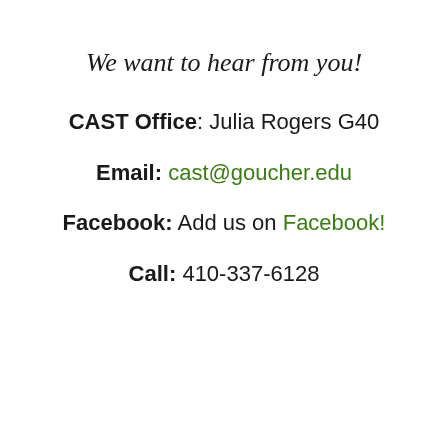We want to hear from you!
CAST Office: Julia Rogers G40
Email: cast@goucher.edu
Facebook: Add us on Facebook!
Call: 410-337-6128